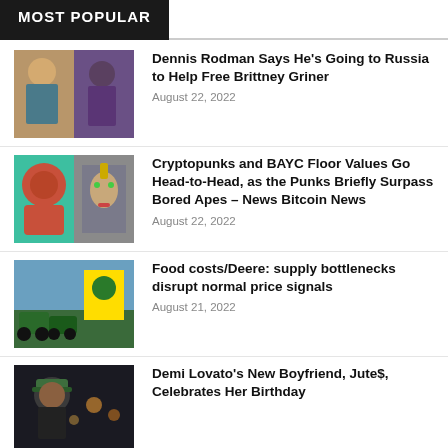MOST POPULAR
Dennis Rodman Says He's Going to Russia to Help Free Brittney Griner — August 22, 2022
Cryptopunks and BAYC Floor Values Go Head-to-Head, as the Punks Briefly Surpass Bored Apes – News Bitcoin News — August 22, 2022
Food costs/Deere: supply bottlenecks disrupt normal price signals — August 21, 2022
Demi Lovato's New Boyfriend, Jute$, Celebrates Her Birthday